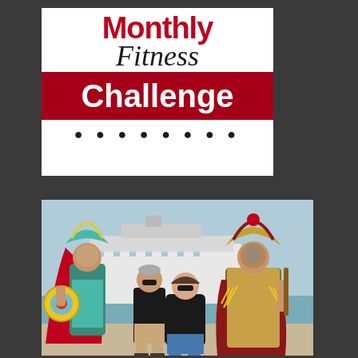[Figure (logo): Monthly Fitness Challenge logo with red banner]
[Figure (photo): Two people in black shirts posing with two performers in elaborate Aztec/Mayan warrior costumes with headdresses and shields, with a cruise ship in the background]